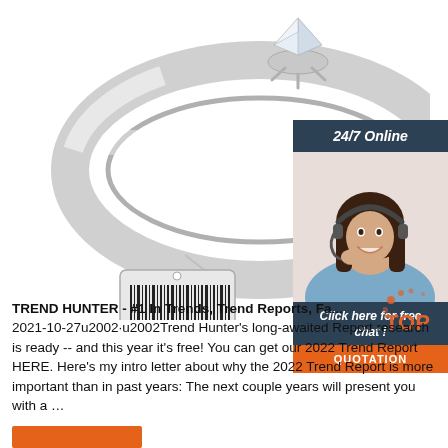[Figure (photo): Silver diamond engagement ring with a barcode price tag hanging from it, on white background]
[Figure (infographic): 24/7 Online chat widget with a woman wearing a headset, dark blue header, 'Click here for free chat!' text, and orange QUOTATION button]
[Figure (logo): TOP badge logo with orange dots/speckles]
TREND HUNTER - #1 In Trends, Trend Reports, Fa... 2021-10-27u2002·u2002Trend Hunter's long-awaited Report research is ready -- and this year it's free! You can get our 2022 Trend Report HERE. Here's my intro letter about why the 2022 Trend Report is more important than in past years: The next couple years will present you with a …